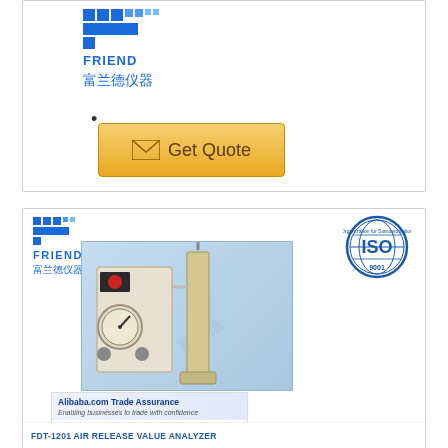[Figure (logo): Friend (富兰德仪器) company logo with blue pixelated graphic and Chinese/English text]
[Figure (other): Get Quote button with envelope icon, gold/yellow gradient background]
[Figure (photo): Product listing card showing Friend (富兰德仪器) logo, ISO 9001 badge, product photo of FDT-1201 Air Release Value Analyzer equipment, Alibaba.com Trade Assurance banner]
FDT-1201 AIR RELEASE VALUE ANALYZER